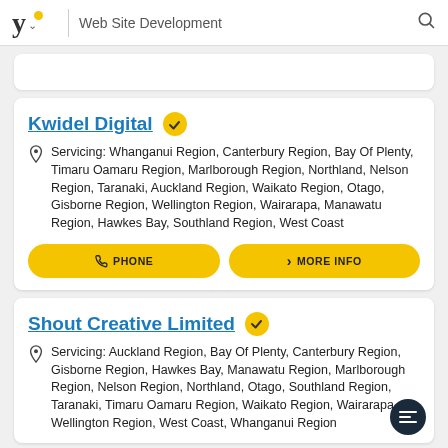Web Site Development
Kwidel Digital
Servicing: Whanganui Region, Canterbury Region, Bay Of Plenty, Timaru Oamaru Region, Marlborough Region, Northland, Nelson Region, Taranaki, Auckland Region, Waikato Region, Otago, Gisborne Region, Wellington Region, Wairarapa, Manawatu Region, Hawkes Bay, Southland Region, West Coast
PHONE
MORE INFO
Shout Creative Limited
Servicing: Auckland Region, Bay Of Plenty, Canterbury Region, Gisborne Region, Hawkes Bay, Manawatu Region, Marlborough Region, Nelson Region, Northland, Otago, Southland Region, Taranaki, Timaru Oamaru Region, Waikato Region, Wairarapa, Wellington Region, West Coast, Whanganui Region